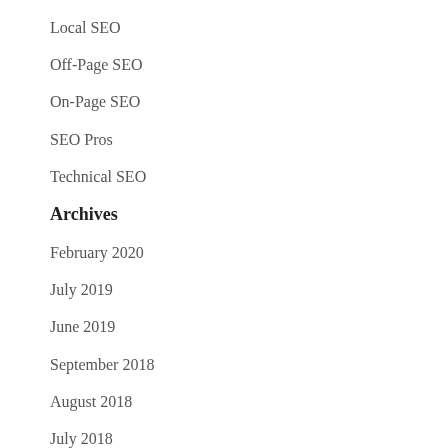Local SEO
Off-Page SEO
On-Page SEO
SEO Pros
Technical SEO
Archives
February 2020
July 2019
June 2019
September 2018
August 2018
July 2018